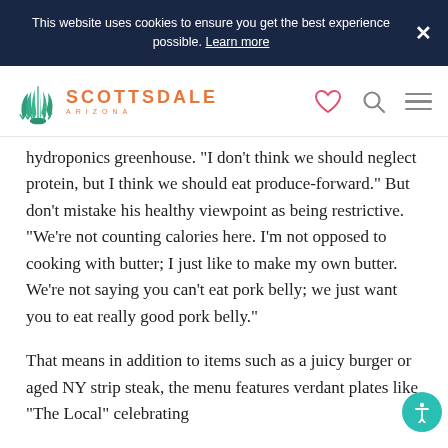This website uses cookies to ensure you get the best experience possible. Learn more
[Figure (logo): Scottsdale Arizona logo with agave plant icon in teal/green and text SCOTTSDALE ARIZONA in orange]
hydroponics greenhouse. "I don't think we should neglect protein, but I think we should eat produce-forward." But don't mistake his healthy viewpoint as being restrictive. "We're not counting calories here. I'm not opposed to cooking with butter; I just like to make my own butter. We're not saying you can't eat pork belly; we just want you to eat really good pork belly."
That means in addition to items such as a juicy burger or aged NY strip steak, the menu features verdant plates like "The Local" celebrating